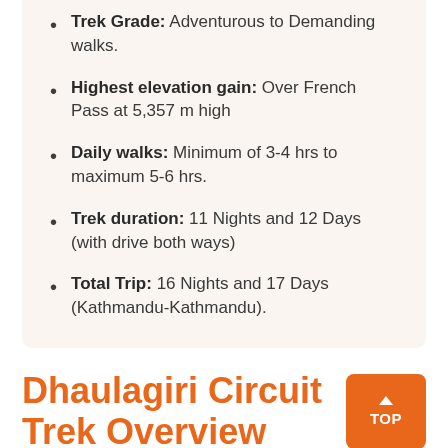Trek Grade: Adventurous to Demanding walks.
Highest elevation gain: Over French Pass at 5,357 m high
Daily walks: Minimum of 3-4 hrs to maximum 5-6 hrs.
Trek duration: 11 Nights and 12 Days (with drive both ways)
Total Trip: 16 Nights and 17 Days (Kathmandu-Kathmandu).
Dhaulagiri Circuit Trek Overview